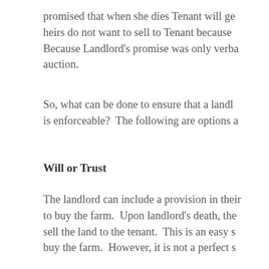promised that when she dies Tenant will ge heirs do not want to sell to Tenant because Because Landlord's promise was only verba auction.
So, what can be done to ensure that a landl is enforceable?  The following are options a
Will or Trust
The landlord can include a provision in their to buy the farm.  Upon landlord's death, the sell the land to the tenant.  This is an easy s buy the farm.  However, it is not a perfect s